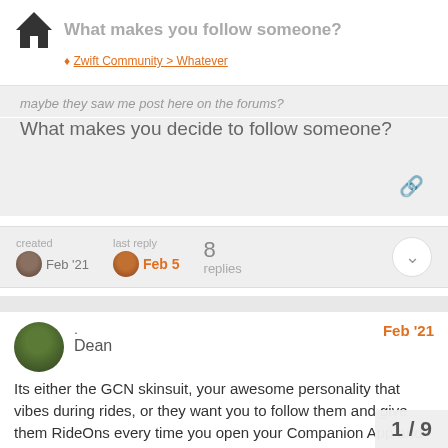What makes you follow someone?
maybe they saw me post here on the forums?
What makes you decide to follow someone?
created Feb '21  last reply Feb 5  8 replies
. Dean  Feb '21
Its either the GCN skinsuit, your awesome personality that vibes during rides, or they want you to follow them and give them RideOns every time you open your Companion App and see them riding.

I keep my profile open and usually find tha are from events I did with them, but some
1 / 9